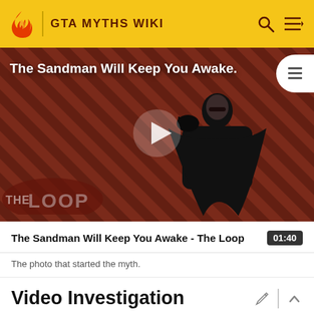GTA MYTHS WIKI
[Figure (screenshot): Video thumbnail with diagonal stripe background (dark red/maroon), a figure in a black cape holding a bird, play button overlay, 'The Loop' watermark logo, and title 'The Sandman Will Keep You Awake.' overlaid on top.]
The Sandman Will Keep You Awake - The Loop
The photo that started the myth.
Video Investigation